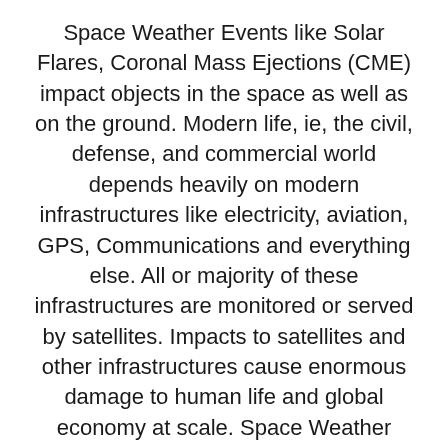Space Weather Events like Solar Flares, Coronal Mass Ejections (CME) impact objects in the space as well as on the ground. Modern life, ie, the civil, defense, and commercial world depends heavily on modern infrastructures like electricity, aviation, GPS, Communications and everything else. All or majority of these infrastructures are monitored or served by satellites. Impacts to satellites and other infrastructures cause enormous damage to human life and global economy at scale. Space Weather events can cause such impacts to on-orbit satellites and other ground infrastructure. Space Weather affects all infrastructure, irrespective of commercial, governmental or global operators. Timely